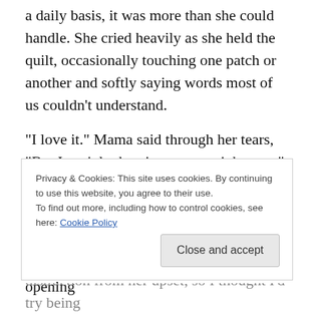a daily basis, it was more than she could handle. She cried heavily as she held the quilt, occasionally touching one patch or another and softly saying words most of us couldn't understand.
“I love it.” Mama said through her tears, “But I can’t look at it anymore right now.”
Everyone understood and after a few silent minutes the conversations slowly began to flow again. A grandchild or two gave Mama a hug and we all continued opening
Privacy & Cookies: This site uses cookies. By continuing to use this website, you agree to their use.
To find out more, including how to control cookies, see here: Cookie Policy
distraction from her upset, so I thought I’d try being